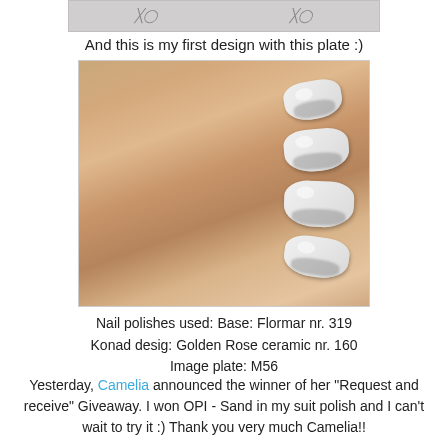[Figure (photo): Partial cropped strip showing two small thumbnail images at the top of the page]
And this is my first design with this plate :)
[Figure (photo): Close-up photo of a hand showing nails painted white with black/dark nail art stamp design, fist position showing four fingers]
Nail polishes used: Base: Flormar nr. 319
Konad desig: Golden Rose ceramic nr. 160
Image plate: M56
Yesterday, Camelia announced the winner of her "Request and receive" Giveaway. I won OPI - Sand in my suit polish and I can't wait to try it :) Thank you very much Camelia!!